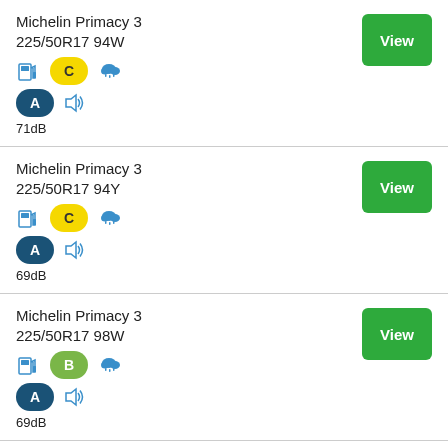Michelin Primacy 3 225/50R17 94W | C | A | 71dB
Michelin Primacy 3 225/50R17 94Y | C | A | 69dB
Michelin Primacy 3 225/50R17 98W | B | A | 69dB
Michelin Primacy 3